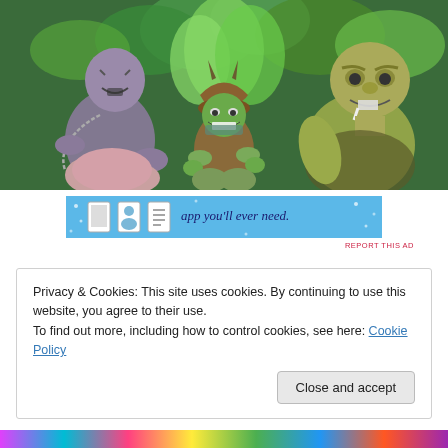[Figure (illustration): Anime/cartoon illustration showing three fantasy monster/goblin-like characters in a forest setting. Left character is gray/dark with chains, center character is a small green goblin wearing a brown helmet and armor, right character is a large yellow-green ogre. Forest with green leaves in background.]
[Figure (screenshot): Advertisement banner with light blue background showing app icons and text 'app you'll ever need.']
REPORT THIS AD
Privacy & Cookies: This site uses cookies. By continuing to use this website, you agree to their use.
To find out more, including how to control cookies, see here: Cookie Policy
Close and accept